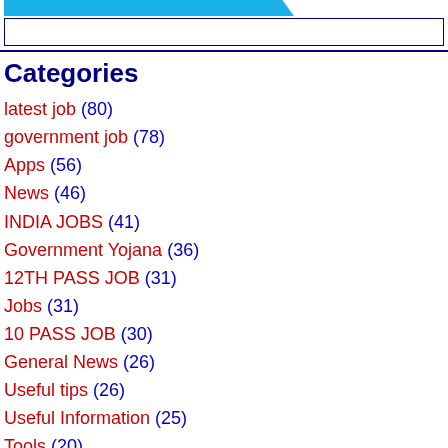Categories
latest job (80)
government job (78)
Apps (56)
News (46)
INDIA JOBS (41)
Government Yojana (36)
12TH PASS JOB (31)
Jobs (31)
10 PASS JOB (30)
General News (26)
Useful tips (26)
Useful Information (25)
Tools (20)
GRADUATE JOB (19)
latest news (19)